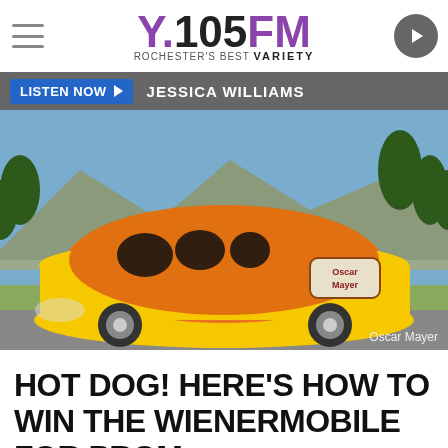Y.105FM Rochester's Best VARIETY
LISTEN NOW ▶  JESSICA WILLIAMS
[Figure (photo): The Oscar Mayer Wienermobile — a large hot dog-shaped vehicle in orange and yellow — parked on a road with mountains and trees in the background. Oscar Mayer logo visible on the side. Photo credit: Oscar Mayer]
Oscar Mayer
HOT DOG! HERE'S HOW TO WIN THE WIENERMOBILE FOR PROM